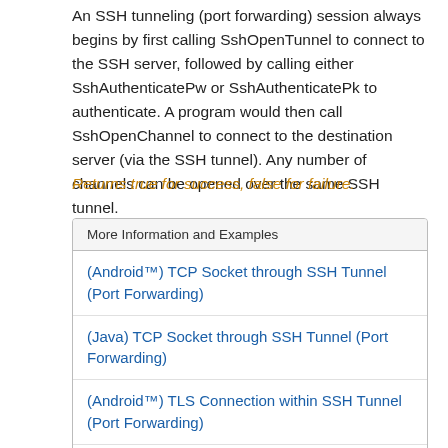An SSH tunneling (port forwarding) session always begins by first calling SshOpenTunnel to connect to the SSH server, followed by calling either SshAuthenticatePw or SshAuthenticatePk to authenticate. A program would then call SshOpenChannel to connect to the destination server (via the SSH tunnel). Any number of channels can be opened over the same SSH tunnel.
Returns true for success, false for failure.
| More Information and Examples |
| --- |
| (Android™) TCP Socket through SSH Tunnel (Port Forwarding) |
| (Java) TCP Socket through SSH Tunnel (Port Forwarding) |
| (Android™) TLS Connection within SSH Tunnel (Port Forwarding) |
| (Java) TLS Connection within SSH Tunnel (Port Forwarding) |